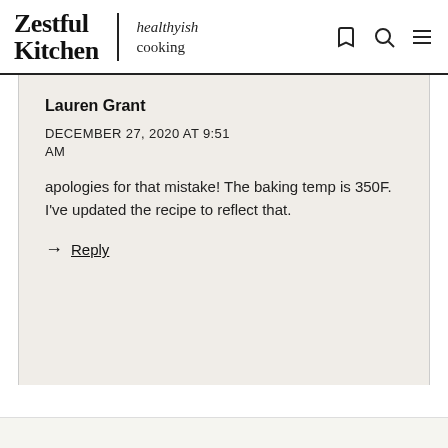Zestful Kitchen | healthyish cooking
Lauren Grant
DECEMBER 27, 2020 AT 9:51 AM
apologies for that mistake! The baking temp is 350F. I've updated the recipe to reflect that.
→ Reply